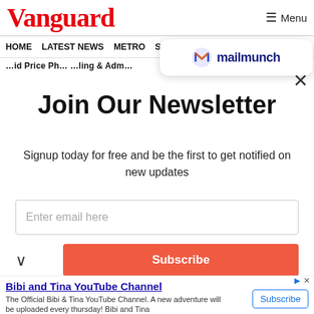Vanguard  Menu
HOME  LATEST NEWS  METRO  SPORTS  ENTERTAINMENT  VIDEOS
[Figure (logo): Mailmunch logo with blue M icon and text 'mailmunch']
×
Join Our Newsletter
Signup today for free and be the first to get notified on new updates
Enter email here
Subscribe
Bibi and Tina YouTube Channel
The Official Bibi & Tina YouTube Channel. A new adventure will be uploaded every thursday! Bibi and Tina
Subscribe